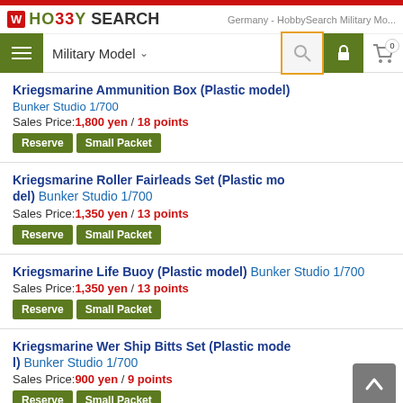HO33Y SEARCH — Germany - HobbySearch Military Mo...
Military Model
Kriegsmarine Ammunition Box (Plastic model) Bunker Studio 1/700 Sales Price: 1,800 yen / 18 points Reserve Small Packet
Kriegsmarine Roller Fairleads Set (Plastic model) Bunker Studio 1/700 Sales Price: 1,350 yen / 13 points Reserve Small Packet
Kriegsmarine Life Buoy (Plastic model) Bunker Studio 1/700 Sales Price: 1,350 yen / 13 points Reserve Small Packet
Kriegsmarine Wer Ship Bitts Set (Plastic model) Bunker Studio 1/700 Sales Price: 900 yen / 9 points Reserve Small Packet